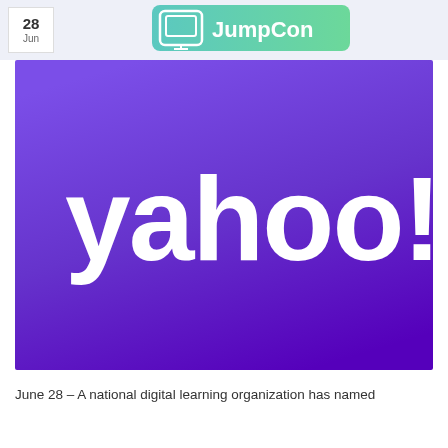28 Jun
[Figure (logo): JumpCon logo with monitor icon and teal/green background]
[Figure (logo): Yahoo! logo in white on purple/violet gradient background]
June 28 – A national digital learning organization has named